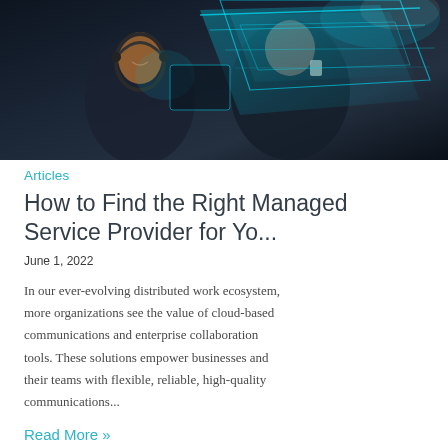[Figure (photo): Two people working at computers in a dark room with glowing blue holographic/digital light effects on screen]
Articles
How to Find the Right Managed Service Provider for Yo...
June 1, 2022
In our ever-evolving distributed work ecosystem, more organizations see the value of cloud-based communications and enterprise collaboration tools. These solutions empower businesses and their teams with flexible, reliable, high-quality communications...
Read More »